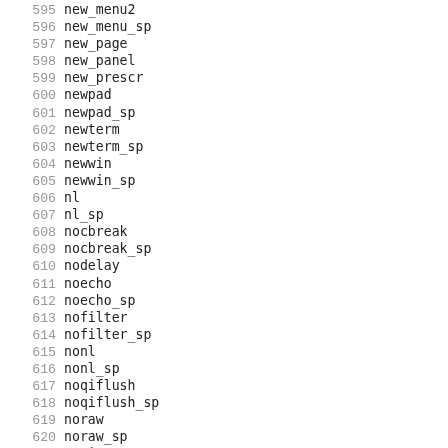595 new_menu2
596 new_menu_sp
597 new_page
598 new_panel
599 new_prescr
600 newpad
601 newpad_sp
602 newterm
603 newterm_sp
604 newwin
605 newwin_sp
606 nl
607 nl_sp
608 nocbreak
609 nocbreak_sp
610 nodelay
611 noecho
612 noecho_sp
613 nofilter
614 nofilter_sp
615 nonl
616 nonl_sp
617 noqiflush
618 noqiflush_sp
619 noraw
620 noraw_sp
621 notimeout
622 ospeed
623 overlay
624 overwrite
625 pair_content
626 pair_content_sp
627 panel_above